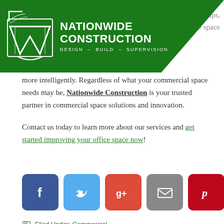[Figure (logo): Nationwide Construction logo with green banner, stylized N icon, and text NATIONWIDE CONSTRUCTION / DESIGN - BUILD - SUPERVISION]
use simple tips, and use space more intelligently. Regardless of what your commercial space needs may be, Nationwide Construction is your trusted partner in commercial space solutions and innovation.
Contact us today to learn more about our services and get started improving your office space now!
[Figure (infographic): Social sharing buttons: Facebook, Twitter, Google+, Email, Pinterest]
Filed Under: Commercial
Tagged With: space solutions, maximize square footage, maximize space, commercial space solutions